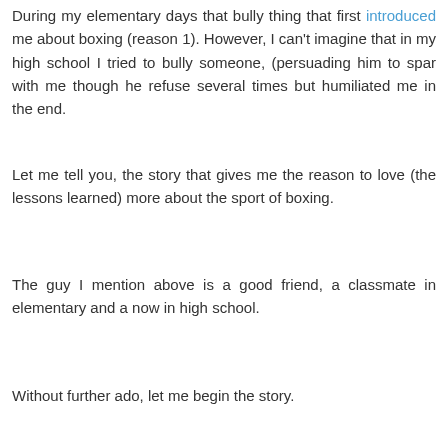During my elementary days that bully thing that first introduced me about boxing (reason 1). However, I can't imagine that in my high school I tried to bully someone, (persuading him to spar with me though he refuse several times but humiliated me in the end.
Let me tell you, the story that gives me the reason to love (the lessons learned) more about the sport of boxing.
The guy I mention above is a good friend, a classmate in elementary and a now in high school.
Without further ado, let me begin the story.